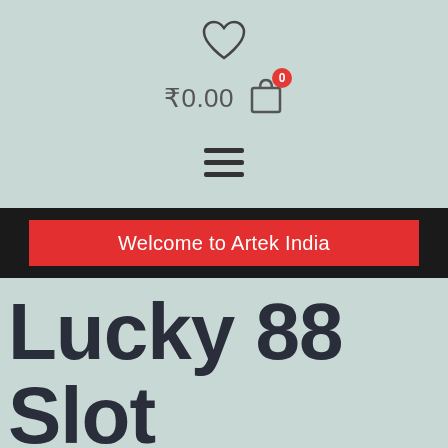♡  ₹0.00  🛒 (0)  ☰
Welcome to Artek India
Lucky 88 Slot Machine Free Onli…